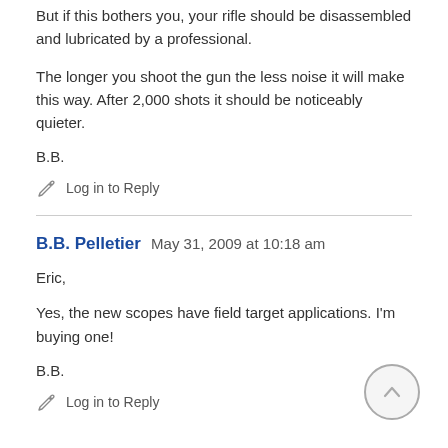But if this bothers you, your rifle should be disassembled and lubricated by a professional.
The longer you shoot the gun the less noise it will make this way. After 2,000 shots it should be noticeably quieter.
B.B.
Log in to Reply
B.B. Pelletier   May 31, 2009 at 10:18 am
Eric,
Yes, the new scopes have field target applications. I'm buying one!
B.B.
Log in to Reply